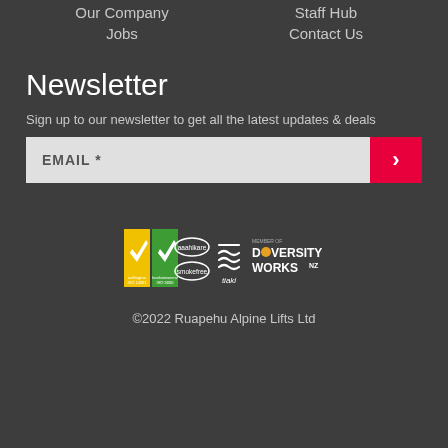Our Company
Staff Hub
Jobs
Contact Us
Newsletter
Sign up to our newsletter to get all the latest updates & deals
[Figure (other): Email input field with red submit arrow button]
[Figure (other): Row of certification and partner logos: Toitū enviromark, Toitū carbonreduce, aaahi kare, smokefree, tiaki, and MEMBER OF DIVERSITY WORKS NZ]
©2022 Ruapehu Alpine Lifts Ltd